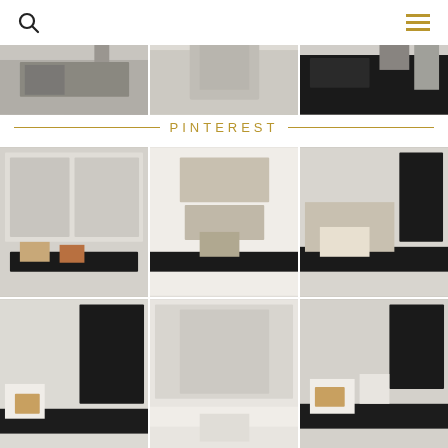[Figure (photo): Three horizontal interior home photos at top: navy sideboard with wood top, staircase with rug, kitchen counter with appliances]
PINTEREST
[Figure (photo): Grid of 6 kitchen interior photos showing cream/greige cabinetry with dark countertops, black window frames, plants and decor styling]